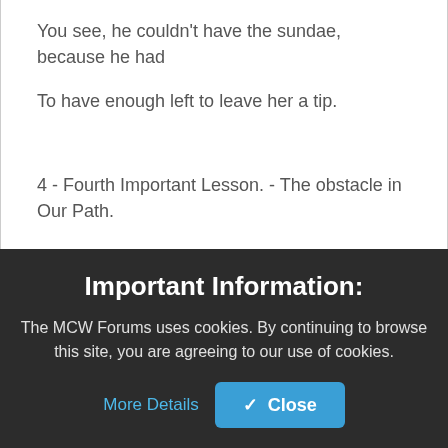You see, he couldn't have the sundae, because he had
To have enough left to leave her a tip.
4 - Fourth Important Lesson. - The obstacle in Our Path.
In ancient times, a King had a boulder placed on a
Important Information:
The MCW Forums uses cookies. By continuing to browse this site, you are agreeing to our use of cookies.
More Details
Close